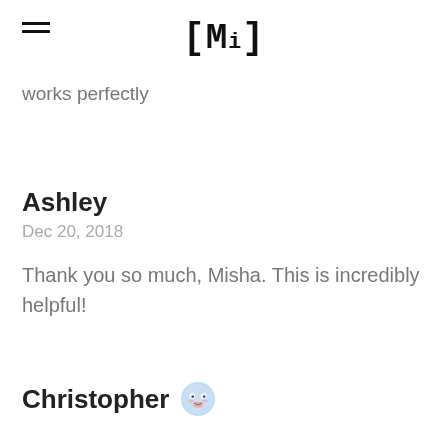[Mi]
works perfectly
Ashley
Dec 20, 2018
Thank you so much, Misha. This is incredibly helpful!
Christopher